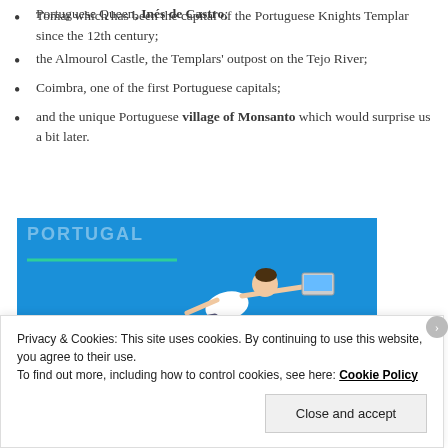Portuguese Queen, Ines de Castro;
Tomar which has been the capital of the Portuguese Knights Templar since the 12th century;
the Almourol Castle, the Templars' outpost on the Tejo River;
Coimbra, one of the first Portuguese capitals;
and the unique Portuguese village of Monsanto which would surprise us a bit later.
[Figure (photo): Blue background advertisement image showing a person leaping/flying horizontally holding a laptop, with a teal/green horizontal line near the top and a teal button at bottom right.]
Privacy & Cookies: This site uses cookies. By continuing to use this website, you agree to their use.
To find out more, including how to control cookies, see here: Cookie Policy